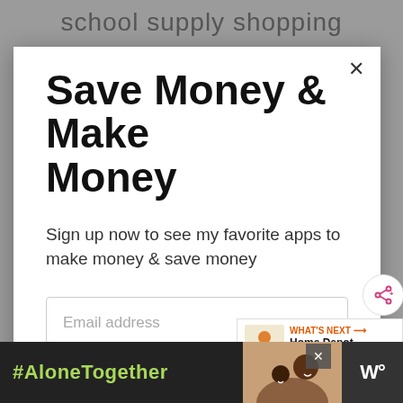school supply shopping to commence because |
Save Money & Make Money
Sign up now to see my favorite apps to make money & save money
Email address
Get It Now
WHAT'S NEXT → Home Depot Penny Items...
[Figure (infographic): #AloneTogether ad banner with photo of father and daughter]
#AloneTogether